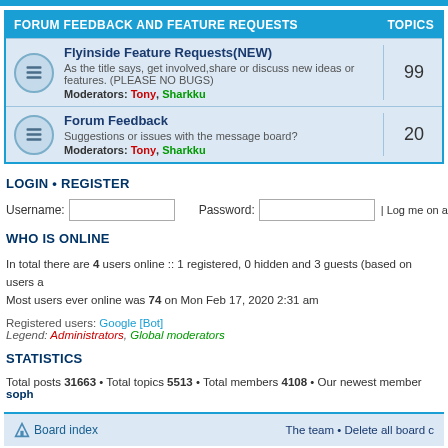FORUM FEEDBACK AND FEATURE REQUESTS | TOPICS
Flyinside Feature Requests(NEW) - As the title says, get involved,share or discuss new ideas or features. (PLEASE NO BUGS) Moderators: Tony, Sharkku - 99 topics
Forum Feedback - Suggestions or issues with the message board? Moderators: Tony, Sharkku - 20 topics
LOGIN • REGISTER
Username: [input] Password: [input] | Log me on autom
WHO IS ONLINE
In total there are 4 users online :: 1 registered, 0 hidden and 3 guests (based on users a
Most users ever online was 74 on Mon Feb 17, 2020 2:31 am
Registered users: Google [Bot]
Legend: Administrators, Global moderators
STATISTICS
Total posts 31663 • Total topics 5513 • Total members 4108 • Our newest member soph
Board index | The team • Delete all board c
Powered by phpBB® Forum Software © phpBB Gr